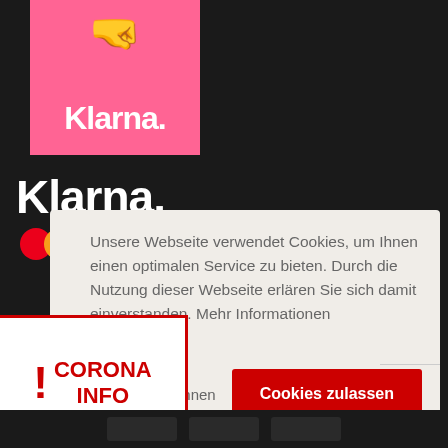[Figure (logo): Klarna pink logo box with fist emoji and Klarna. wordmark in white]
Klarna.
[Figure (logo): Mastercard circles and VISA logo]
Unsere Webseite verwendet Cookies, um Ihnen einen optimalen Service zu bieten. Durch die Nutzung dieser Webseite erklären Sie sich damit einverstanden. Mehr Informationen
[Figure (infographic): CORONA INFO box with red exclamation mark]
ablehnen
Cookies zulassen